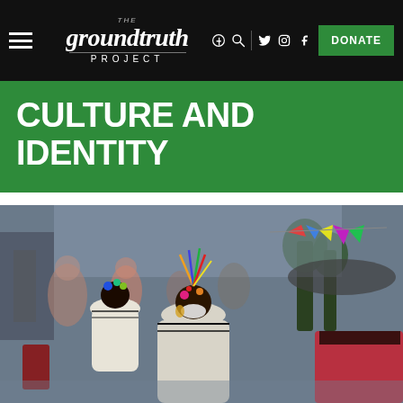The GroundTruth Project — navigation bar with hamburger menu, logo, social icons, and DONATE button
CULTURE AND IDENTITY
[Figure (photo): Outdoor cultural festival scene showing women in traditional white embroidered dresses with dark trim, wearing ornate headdresses with colorful feathers. The women face away from the camera. A crowd and colorful banner flags are visible in the blurred background with trees and buildings.]